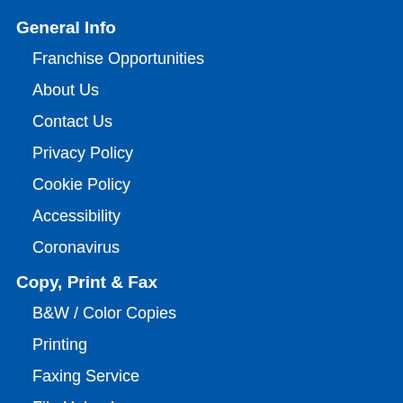General Info
Franchise Opportunities
About Us
Contact Us
Privacy Policy
Cookie Policy
Accessibility
Coronavirus
Copy, Print & Fax
B&W / Color Copies
Printing
Faxing Service
File Upload
Quick Links